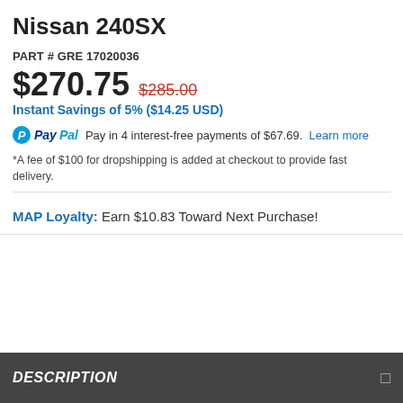Nissan 240SX
PART # GRE 17020036
$270.75  $285.00
Instant Savings of 5% ($14.25 USD)
PayPal  Pay in 4 interest-free payments of $67.69.  Learn more
*A fee of $100 for dropshipping is added at checkout to provide fast delivery.
MAP Loyalty: Earn $10.83 Toward Next Purchase!
DESCRIPTION